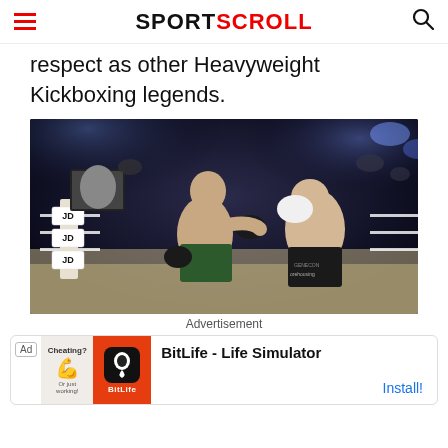SPORTSCROLL
respect as other Heavyweight Kickboxing legends.
[Figure (photo): Two male kickboxers fighting in a boxing ring under bright lights. The fighter on the left wearing green trunks lands a punch on the fighter on the right wearing black trunks. JD Sports logos visible on corner posts.]
Advertisement
[Figure (other): Advertisement banner for BitLife - Life Simulator app with install button]